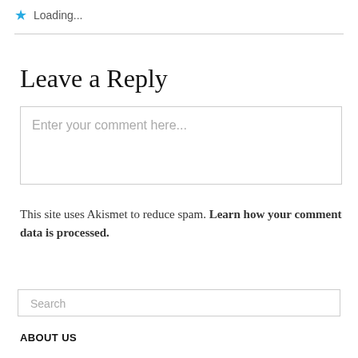Loading...
Leave a Reply
Enter your comment here...
This site uses Akismet to reduce spam. Learn how your comment data is processed.
Search
ABOUT US